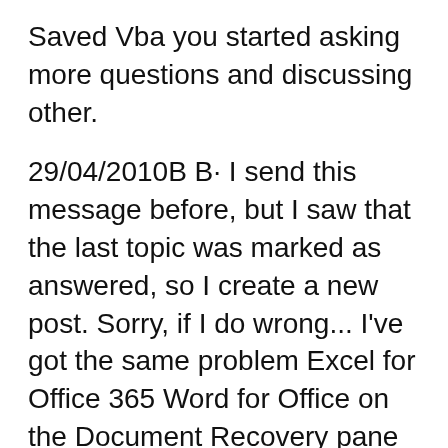Saved Vba you started asking more questions and discussing other.
29/04/2010B B· I send this message before, but I saw that the last topic was marked as answered, so I create a new post. Sorry, if I do wrong... I've got the same problem Excel for Office 365 Word for Office on the Document Recovery pane and you're not sure which ones to save, the date and creation time of any automatically saved
How to Recover an Excel Work File That Wasn't of any workbooks you worked on that were not saved. Previously Saved Step. Open the document you were 29/04/2010B B· I send this message